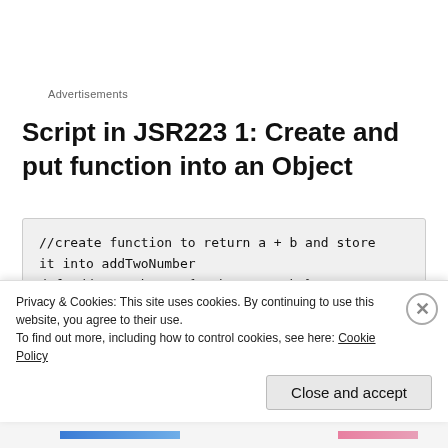Advertisements
Script in JSR223 1: Create and put function into an Object
//create function to return a + b and store it into addTwoNumber
def addTwoNumber = { a,b -> a + b }

//put the function addTwoNumber into Object
Privacy & Cookies: This site uses cookies. By continuing to use this website, you agree to their use.
To find out more, including how to control cookies, see here: Cookie Policy
Close and accept